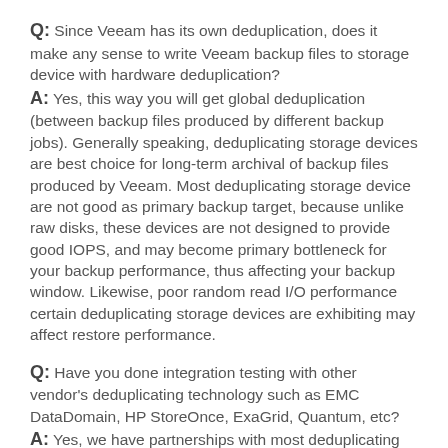Q: Since Veeam has its own deduplication, does it make any sense to write Veeam backup files to storage device with hardware deduplication?
A: Yes, this way you will get global deduplication (between backup files produced by different backup jobs). Generally speaking, deduplicating storage devices are best choice for long-term archival of backup files produced by Veeam. Most deduplicating storage device are not good as primary backup target, because unlike raw disks, these devices are not designed to provide good IOPS, and may become primary bottleneck for your backup performance, thus affecting your backup window. Likewise, poor random read I/O performance certain deduplicating storage devices are exhibiting may affect restore performance.
Q: Have you done integration testing with other vendor's deduplicating technology such as EMC DataDomain, HP StoreOnce, ExaGrid, Quantum, etc?
A: Yes, we have partnerships with most deduplicating storage vendors. Moreover, there are noticeable performance improvements over many versions.